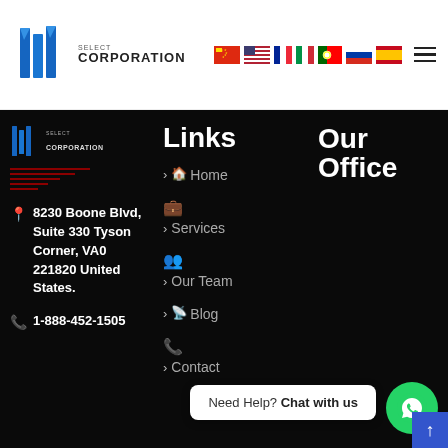[Figure (logo): BMG Select Corporation logo with blue angular shield icon and company name text]
[Figure (infographic): Flag icons for China, USA, France, Italy, Portugal, Russia, Spain language selectors, and hamburger menu icon]
[Figure (logo): Small BMG Select Corporation footer logo]
Links
Our Office
Home
Services
Our Team
Blog
Contact
8230 Boone Blvd, Suite 330 Tyson Corner, VA0 221820 United States.
1-888-452-1505
Need Help? Chat with us